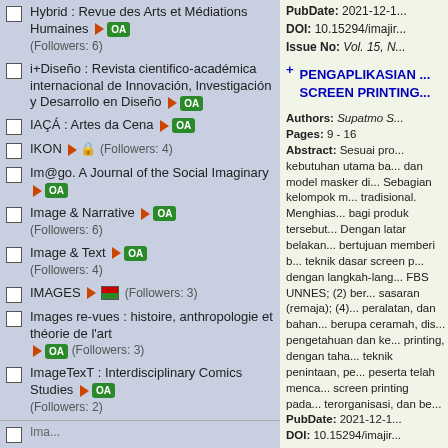Hybrid : Revue des Arts et Médiations Humaines ► OA (Followers: 6)
i+Diseño : Revista cientifico-académica internacional de Innovación, Investigación y Desarrollo en Diseño ► OA
IAÇÁ : Artes da Cena ► OA
IKON ► 🔒 (Followers: 4)
Im@go. A Journal of the Social Imaginary ► OA
Image & Narrative ► OA (Followers: 6)
Image & Text ► OA (Followers: 4)
IMAGES ► 🏳 (Followers: 3)
Images re-vues : histoire, anthropologie et théorie de l'art ► OA (Followers: 3)
ImageTexT : Interdisciplinary Comics Studies ► OA (Followers: 2)
PubDate: 2021-12-1... DOI: 10.15294/imajin... Issue No: Vol. 15, N...
PENGAPLIKASIAN ... SCREEN PRINTING...
Authors: Supatmo S... Pages: 9 - 16 Abstract: Sesuai pro... kebutuhan utama ba... dan model masker di... Sebagian kelompok ... tradisional. Menghias... bagi produk tersebut... Dengan latar belakan... bertujuan memberi b... teknik dasar screen p... dengan langkah-lang... FBS UNNES; (2) ber... sasaran (remaja); (4)... peralatan, dan bahan... berupa ceramah, dis... pengetahuan dan ke... printing, dengan taha... teknik penintaan, pe... peserta telah menca... screen printing pada... terorganisasi, dan be... PubDate: 2021-12-1... DOI: 10.15294/imajir...